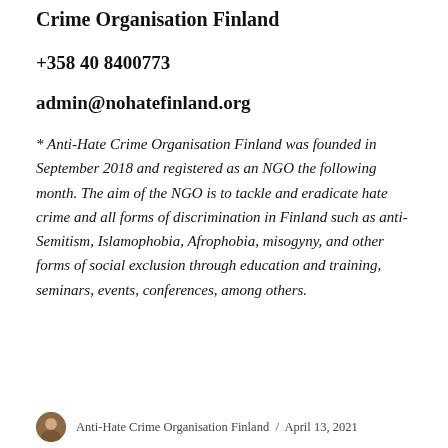Crime Organisation Finland
+358 40 8400773
admin@nohatefinland.org
* Anti-Hate Crime Organisation Finland was founded in September 2018 and registered as an NGO the following month. The aim of the NGO is to tackle and eradicate hate crime and all forms of discrimination in Finland such as anti-Semitism, Islamophobia, Afrophobia, misogyny, and other forms of social exclusion through education and training, seminars, events, conferences, among others.
Anti-Hate Crime Organisation Finland / April 13, 2021